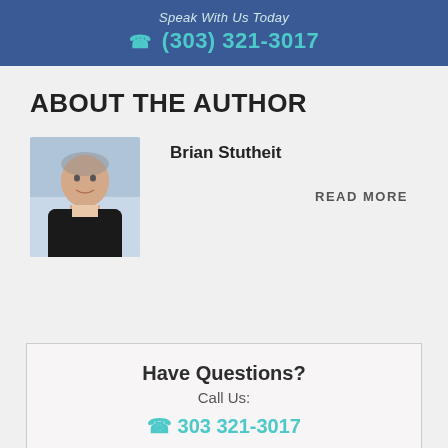Speak With Us Today
☎ (303) 321-3017
ABOUT THE AUTHOR
[Figure (photo): Headshot photo of Brian Stutheit, a middle-aged man in a dark jacket, outdoors with a light background]
Brian Stutheit
READ MORE
Have Questions?
Call Us:
☎ 303 321-3017